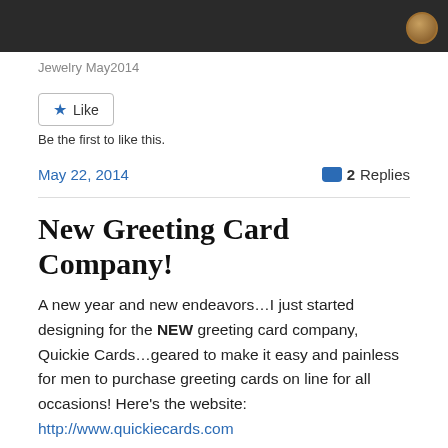[Figure (photo): Dark background photo, partially visible at top of page with a decorative circular metallic element in the upper right area.]
Jewelry May2014
Like
Be the first to like this.
May 22, 2014   2 Replies
New Greeting Card Company!
A new year and new endeavors…I just started designing for the NEW greeting card company, Quickie Cards…geared to make it easy and painless for men to purchase greeting cards on line for all occasions! Here's the website: http://www.quickiecards.com
Right now, I have designs in the Birthday section, and will